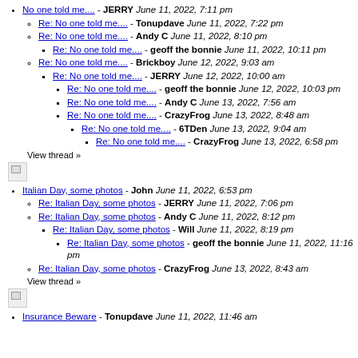No one told me.... - JERRY June 11, 2022, 7:11 pm
Re: No one told me.... - Tonupdave June 11, 2022, 7:22 pm
Re: No one told me.... - Andy C June 11, 2022, 8:10 pm
Re: No one told me.... - geoff the bonnie June 11, 2022, 10:11 pm
Re: No one told me.... - Brickboy June 12, 2022, 9:03 am
Re: No one told me.... - JERRY June 12, 2022, 10:00 am
Re: No one told me.... - geoff the bonnie June 12, 2022, 10:03 pm
Re: No one told me.... - Andy C June 13, 2022, 7:56 am
Re: No one told me.... - CrazyFrog June 13, 2022, 8:48 am
Re: No one told me.... - 6TDen June 13, 2022, 9:04 am
Re: No one told me.... - CrazyFrog June 13, 2022, 6:58 pm
View thread »
[Figure (other): Broken/missing image icon]
Italian Day, some photos - John June 11, 2022, 6:53 pm
Re: Italian Day, some photos - JERRY June 11, 2022, 7:06 pm
Re: Italian Day, some photos - Andy C June 11, 2022, 8:12 pm
Re: Italian Day, some photos - Will June 11, 2022, 8:19 pm
Re: Italian Day, some photos - geoff the bonnie June 11, 2022, 11:16 pm
Re: Italian Day, some photos - CrazyFrog June 13, 2022, 8:43 am
View thread »
[Figure (other): Broken/missing image icon]
Insurance Beware - Tonupdave June 11, 2022, 11:46 am